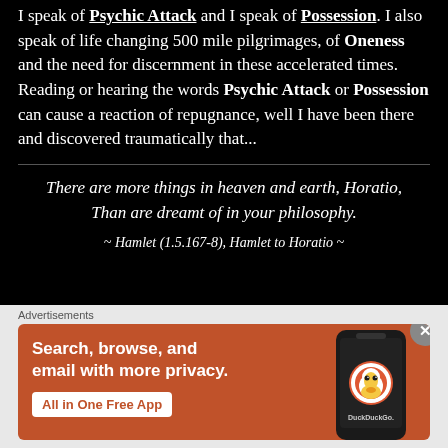I speak of Psychic Attack and I speak of Possession. I also speak of life changing 500 mile pilgrimages, of Oneness and the need for discernment in these accelerated times. Reading or hearing the words Psychic Attack or Possession can cause a reaction of repugnance, well I have been there and discovered traumatically that...
There are more things in heaven and earth, Horatio, Than are dreamt of in your philosophy.
~ Hamlet (1.5.167-8), Hamlet to Horatio ~
[Figure (other): DuckDuckGo advertisement banner: orange background with white text 'Search, browse, and email with more privacy.' and button 'All in One Free App', with a phone graphic showing DuckDuckGo logo]